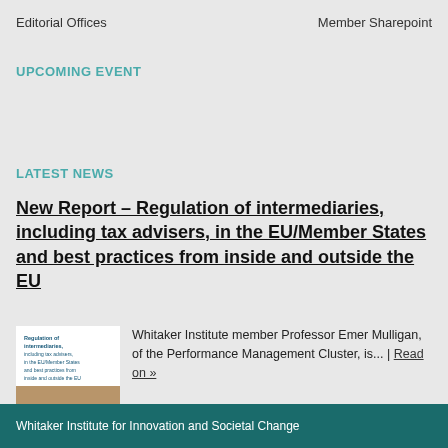Editorial Offices    Member Sharepoint
UPCOMING EVENT
LATEST NEWS
New Report – Regulation of intermediaries, including tax advisers, in the EU/Member States and best practices from inside and outside the EU
[Figure (photo): Book cover image showing 'Regulation of intermediaries, including tax advisers, in the EU/Member States and best practices from inside and outside the EU' with a photograph of alphabet letter tiles]
Whitaker Institute member Professor Emer Mulligan, of the Performance Management Cluster, is... | Read on »
Whitaker Institute for Innovation and Societal Change